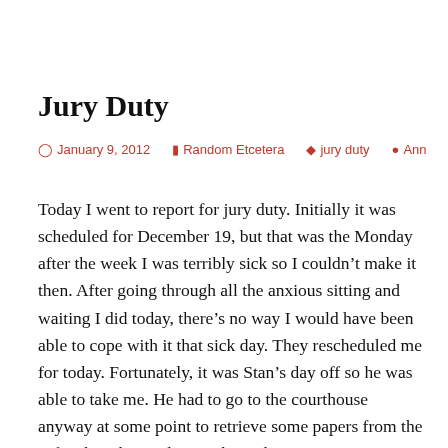Jury Duty
January 9, 2012   Random Etcetera   jury duty   Ann
Today I went to report for jury duty. Initially it was scheduled for December 19, but that was the Monday after the week I was terribly sick so I couldn’t make it then. After going through all the anxious sitting and waiting I did today, there’s no way I would have been able to cope with it that sick day. They rescheduled me for today. Fortunately, it was Stan’s day off so he was able to take me. He had to go to the courthouse anyway at some point to retrieve some papers from the cafe where he used to work. He kept me company up until the time I had to go in to the large room where everyone had to watch a Dharma Initiative video.